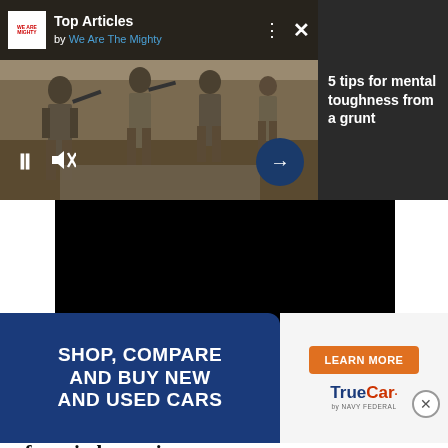[Figure (screenshot): Video player showing soldiers in military gear walking on a dirt road, with a 'Top Articles by We Are The Mighty' header overlay, pause and mute controls at bottom-left, and a next-arrow button at bottom-right]
Top Articles
by We Are The Mighty
[Figure (screenshot): Right panel with dark background showing article title: 5 tips for mental toughness from a grunt]
5 tips for mental toughness from a grunt
[Figure (screenshot): Black video continuation area below the main video thumbnail]
Doran also made this mysterious portrait of the planet, in which you can see the twinkle of myriad stars in th
[Figure (screenshot): Advertisement banner: SHOP, COMPARE AND BUY NEW AND USED CARS with LEARN MORE button and TrueCar by Navy Federal logo]